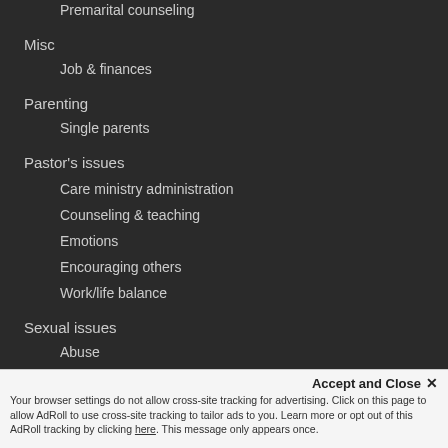Premarital counseling
Misc
Job & finances
Parenting
Single parents
Pastor's issues
Care ministry administration
Counseling & teaching
Emotions
Encouraging others
Work/life balance
Sexual issues
Abuse
Your browser settings do not allow cross-site tracking for advertising. Click on this page to allow AdRoll to use cross-site tracking to tailor ads to you. Learn more or opt out of this AdRoll tracking by clicking here. This message only appears once.